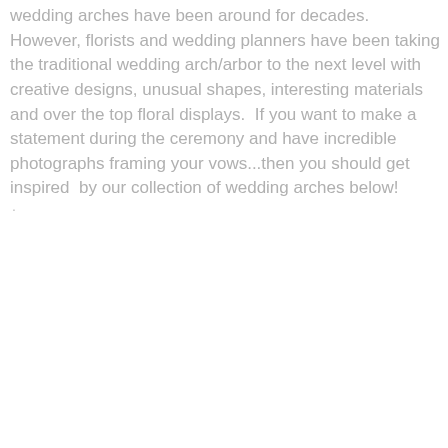wedding arches have been around for decades.  However, florists and wedding planners have been taking the traditional wedding arch/arbor to the next level with creative designs, unusual shapes, interesting materials and over the top floral displays.  If you want to make a statement during the ceremony and have incredible photographs framing your vows...then you should get inspired  by our collection of wedding arches below!